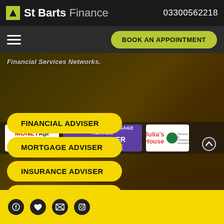St Barts Finance | 03300562218
Financial Services Networks.
BOOK AN APPOINTMENT
FINANCIAL ADVISER
MORTGAGE ADVISER
INSURANCE ADVISER
INVESTMENT ADVISER
[Figure (logo): MoneyAge Awards shortlisted badge]
[Figure (logo): Local Hero Mortgage Awards 2019 Winner badge]
[Figure (logo): Julia's House charity logo]
Social media icons footer bar